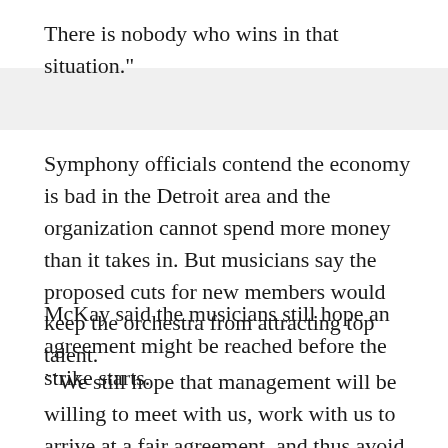There is nobody who wins in that situation."
Symphony officials contend the economy is bad in the Detroit area and the organization cannot spend more money than it takes in. But musicians say the proposed cuts for new members would keep the orchestra from attracting top talent.
McKay said the musicians still hope an agreement might be reached before the strike starts.
``We still hope that management will be willing to meet with us, work with us to arrive at a fair agreement, and thus avoid the strike," McKay said.